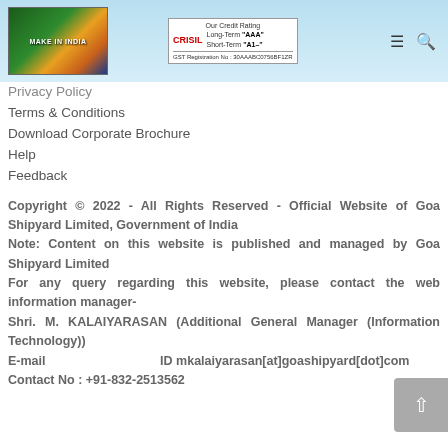[Figure (logo): Make in India logo with lion and Indian flag colors]
[Figure (logo): CRISIL credit rating box showing Long-Term AAA and Short-Term A1+ with GST Registration No.]
Privacy Policy
Terms & Conditions
Download Corporate Brochure
Help
Feedback
Copyright © 2022 - All Rights Reserved - Official Website of Goa Shipyard Limited, Government of India
Note: Content on this website is published and managed by Goa Shipyard Limited
For any query regarding this website, please contact the web information manager-
Shri. M. KALAIYARASAN (Additional General Manager (Information Technology))
E-mail                                ID mkalaiyarasan[at]goashipyard[dot]com
Contact No : +91-832-2513562